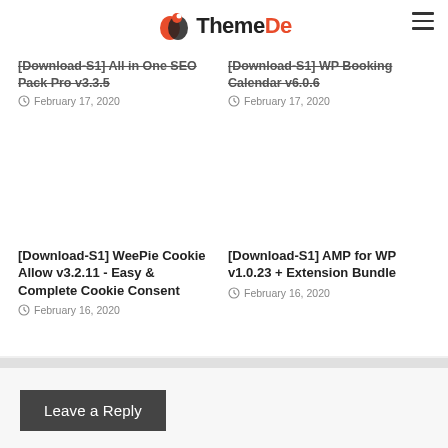ThemeDe
[Download-S1] All in One SEO Pack Pro v3.3.5
February 17, 2020
[Download-S1] WP Booking Calendar v6.0.6
February 17, 2020
[Download-S1] WeePie Cookie Allow v3.2.11 - Easy & Complete Cookie Consent
February 16, 2020
[Download-S1] AMP for WP v1.0.23 + Extension Bundle
February 16, 2020
Leave a Reply
You must be logged in to post a comment.